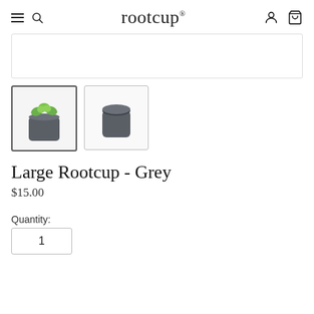rootcup
[Figure (photo): Main product image area (largely blank/white, cropped)]
[Figure (photo): Thumbnail 1: Grey rootcup pot with green succulent plant]
[Figure (photo): Thumbnail 2: Grey rootcup pot without plant, showing top opening]
Large Rootcup - Grey
$15.00
Quantity:
1